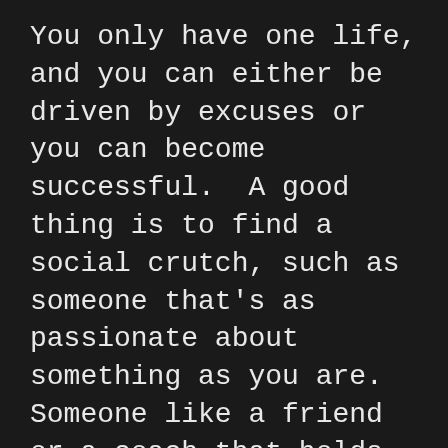You only have one life, and you can either be driven by excuses or you can become successful.  A good thing is to find a social crutch, such as someone that's as passionate about something as you are. Someone like a friend or a coach that holds you accountable, as an external motivation. You need someone to push you out of your own comfort zone!

You need to prioritize whatever your goal is and work at it as hard as if there was someone behind